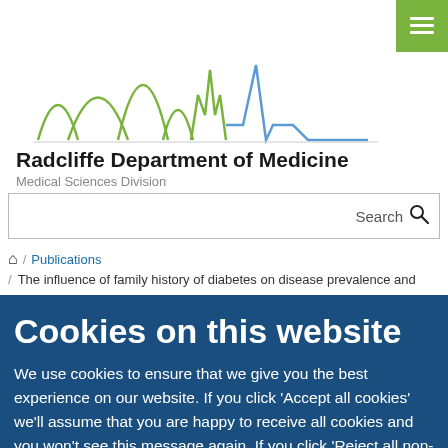[Figure (logo): Radcliffe Department of Medicine logo with stylized skyline and heartbeat line graphic in green and blue]
Radcliffe Department of Medicine
Medical Sciences Division
Search
/ Publications / The influence of family history of diabetes on disease prevalence and
Cookies on this website
We use cookies to ensure that we give you the best experience on our website. If you click 'Accept all cookies' we'll assume that you are happy to receive all cookies and you won't see this message again. If you click 'Reject all non-essential cookies' only necessary cookies providing core functionality such as security, network management, and accessibility will be enabled. Click 'Find out more' for